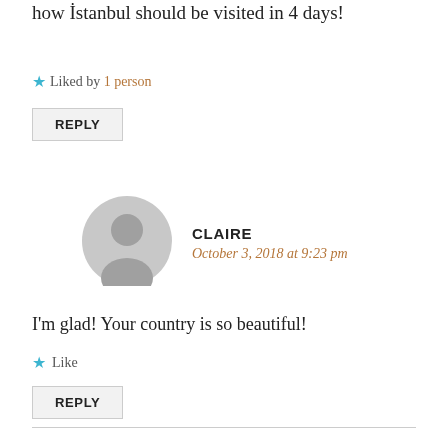how İstanbul should be visited in 4 days!
★ Liked by 1 person
REPLY
CLAIRE
October 3, 2018 at 9:23 pm
I'm glad! Your country is so beautiful!
★ Like
REPLY